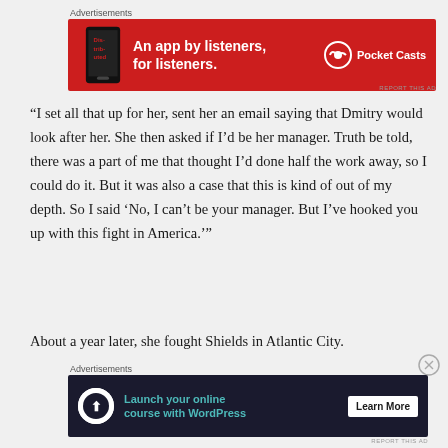[Figure (screenshot): Red advertisement banner for Pocket Casts app with text 'An app by listeners, for listeners.' and phone image]
“I set all that up for her, sent her an email saying that Dmitry would look after her. She then asked if I’d be her manager. Truth be told, there was a part of me that thought I’d done half the work away, so I could do it. But it was also a case that this is kind of out of my depth. So I said ‘No, I can’t be your manager. But I’ve hooked you up with this fight in America.’”
About a year later, she fought Shields in Atlantic City.
[Figure (screenshot): Dark advertisement banner for WordPress with text 'Launch your online course with WordPress' and Learn More button]